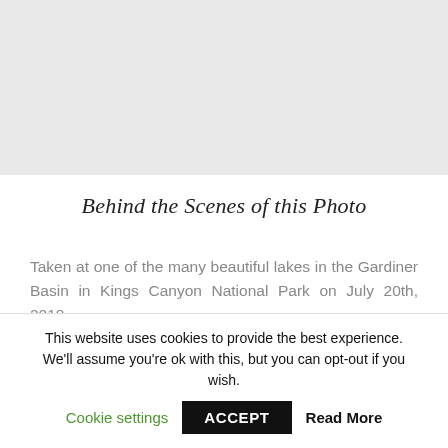[Figure (photo): Light grey placeholder area representing a photo at the top of the page]
Behind the Scenes of this Photo
Taken at one of the many beautiful lakes in the Gardiner Basin in Kings Canyon National Park on July 20th, 2018.
This website uses cookies to provide the best experience. We'll assume you're ok with this, but you can opt-out if you wish.  Cookie settings  ACCEPT  Read More